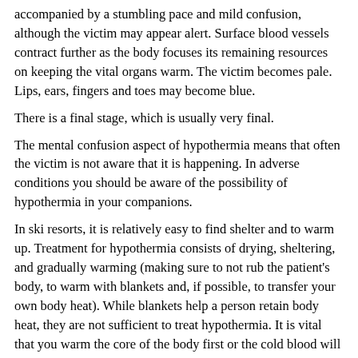accompanied by a stumbling pace and mild confusion, although the victim may appear alert. Surface blood vessels contract further as the body focuses its remaining resources on keeping the vital organs warm. The victim becomes pale. Lips, ears, fingers and toes may become blue.
There is a final stage, which is usually very final.
The mental confusion aspect of hypothermia means that often the victim is not aware that it is happening. In adverse conditions you should be aware of the possibility of hypothermia in your companions.
In ski resorts, it is relatively easy to find shelter and to warm up. Treatment for hypothermia consists of drying, sheltering, and gradually warming (making sure to not rub the patient's body, to warm with blankets and, if possible, to transfer your own body heat). While blankets help a person retain body heat, they are not sufficient to treat hypothermia. It is vital that you warm the core of the body first or the cold blood will be forced towards the heart and may cause death. In the field, a mildly hypothermic person can be effectively rewarmed through close body contact from a companion and by drinking warm, sweet liquids NOT alcohol, which dilates surface blood vessels and accelerates heat loss..
Moderate and severe cases of hypothermia require immediate evacuation and treatment in a hospital. In hospital, warming is accomplished by external techniques such as heated blankets for